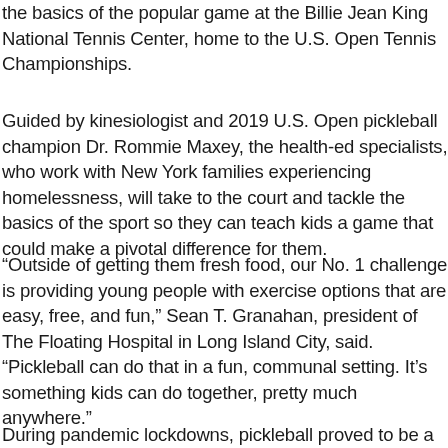the basics of the popular game at the Billie Jean King National Tennis Center, home to the U.S. Open Tennis Championships.
Guided by kinesiologist and 2019 U.S. Open pickleball champion Dr. Rommie Maxey, the health-ed specialists, who work with New York families experiencing homelessness, will take to the court and tackle the basics of the sport so they can teach kids a game that could make a pivotal difference for them.
“Outside of getting them fresh food, our No. 1 challenge is providing young people with exercise options that are easy, free, and fun,” Sean T. Granahan, president of The Floating Hospital in Long Island City, said. “Pickleball can do that in a fun, communal setting. It’s something kids can do together, pretty much anywhere.”
During pandemic lockdowns, pickleball proved to be a